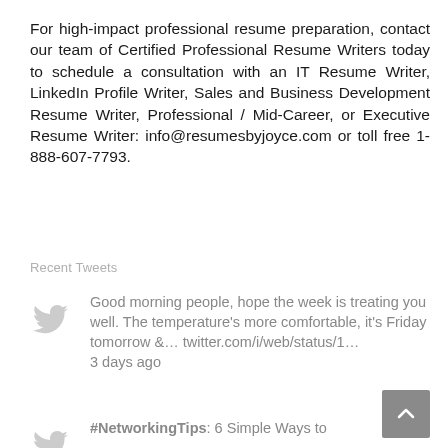For high-impact professional resume preparation, contact our team of Certified Professional Resume Writers today to schedule a consultation with an IT Resume Writer, LinkedIn Profile Writer, Sales and Business Development Resume Writer, Professional / Mid-Career, or Executive Resume Writer: info@resumesbyjoyce.com or toll free 1-888-607-7793.
Recent Tweets
Good morning people, hope the week is treating you well. The temperature's more comfortable, it's Friday tomorrow &… twitter.com/i/web/status/1… 3 days ago
#NetworkingTips: 6 Simple Ways to